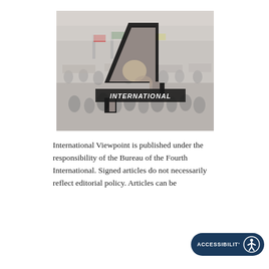[Figure (illustration): A large crowd protest scene in black and white/faded color, with a large bold number '4' overlaid in the center, and the word 'INTERNATIONAL' written in white bold italic text across the middle of the number 4. The scene shows many people with banners and flags.]
International Viewpoint is published under the responsibility of the Bureau of the Fourth International. Signed articles do not necessarily re[flect] editorial policy. Articles can be